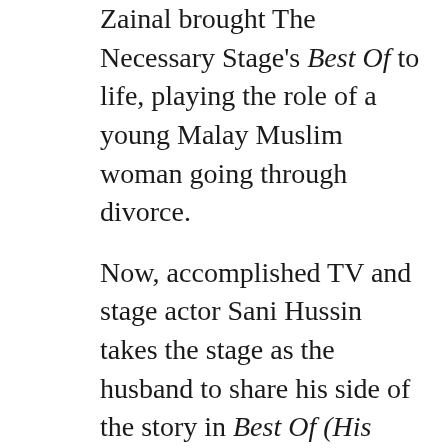Zainal brought The Necessary Stage's Best Of to life, playing the role of a young Malay Muslim woman going through divorce.
Now, accomplished TV and stage actor Sani Hussin takes the stage as the husband to share his side of the story in Best Of (His Story), written by Haresh Sharma and directed by Alvin Tan.
What happens when the estranged couple reunite at the Syariah court? What does he say to a wife seeking divorce? What can he say?
How would this change his view of what “home” means?
Just as his wife had shared her day with the audience, he offers us a glimpse into a day in his life, his past, his dreams… and his beliefs.
He too is not a stereotype. But after today, he